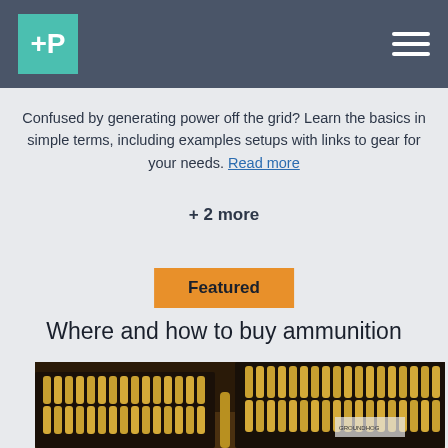+P [logo] [hamburger menu]
Confused by generating power off the grid? Learn the basics in simple terms, including examples setups with links to gear for your needs. Read more
+ 2 more
Featured
Where and how to buy ammunition
[Figure (photo): Photo of multiple rows of brass ammunition/bullets arranged in black trays on a table]